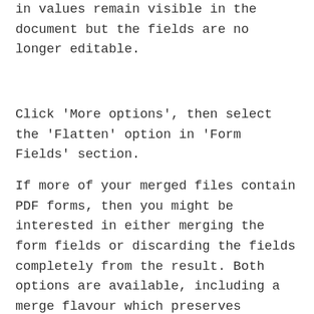in values remain visible in the document but the fields are no longer editable.
Click 'More options', then select the 'Flatten' option in 'Form Fields' section.
If more of your merged files contain PDF forms, then you might be interested in either merging the form fields or discarding the fields completely from the result. Both options are available, including a merge flavour which preserves duplicate fields by renaming them.
... Developing notifications...